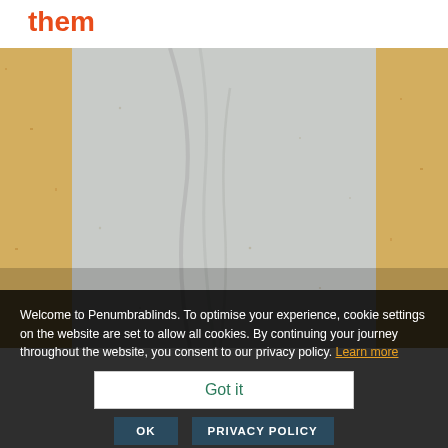them
[Figure (photo): Close-up photograph of fabric/blind material showing white/grey textured fabric with golden/yellow vertical stripes on left and right sides, with subtle crease marks visible in the center.]
Welcome to Penumbrablinds. To optimise your experience, cookie settings on the website are set to allow all cookies. By continuing your journey throughout the website, you consent to our privacy policy. Learn more
Got it
OK
PRIVACY POLICY